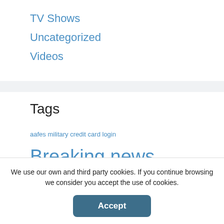TV Shows
Uncategorized
Videos
Tags
aafes military credit card login Breaking news Breathing meditation for beginners Buddhist meditation techniques Buy paper savings bonds Create Xoom account Daily
We use our own and third party cookies. If you continue browsing we consider you accept the use of cookies.
Accept